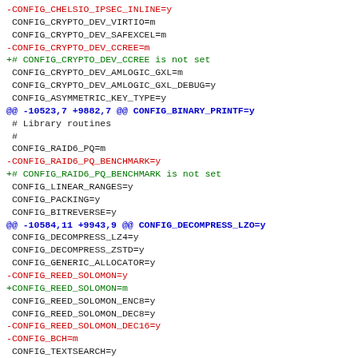Unified diff output showing kernel configuration changes, including crypto device, RAID, compression, Reed-Solomon, and text search config options.